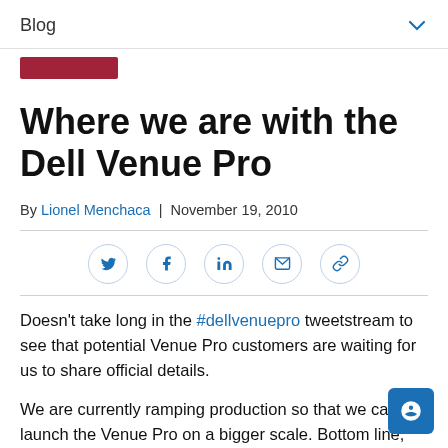Blog
Where we are with the Dell Venue Pro
By Lionel Menchaca | November 19, 2010
Doesn't take long in the #dellvenuepro tweetstream to see that potential Venue Pro customers are waiting for us to share official details.
We are currently ramping production so that we can launch the Venue Pro on a bigger scale. Bottom line, Dell